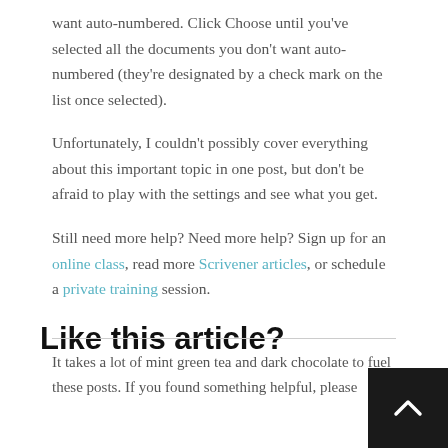want auto-numbered. Click Choose until you've selected all the documents you don't want auto-numbered (they're designated by a check mark on the list once selected).
Unfortunately, I couldn't possibly cover everything about this important topic in one post, but don't be afraid to play with the settings and see what you get.
Still need more help? Need more help? Sign up for an online class, read more Scrivener articles, or schedule a private training session.
Like this article?
It takes a lot of mint green tea and dark chocolate to fuel these posts. If you found something helpful, please